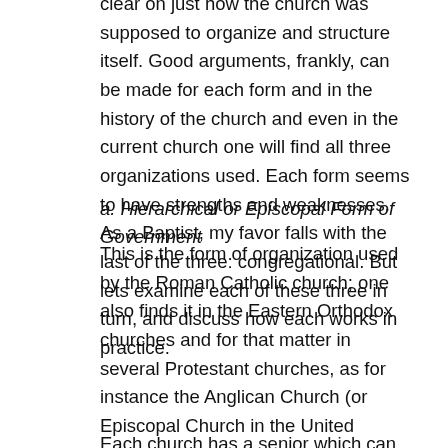clear on just how the church was supposed to organize and structure itself. Good arguments, frankly, can be made for each form and in the history of the church and even in the current church one will find all three organizations used. Each form seems to have strengths and weaknesses. As a Baptist, my favor falls with the last of the three: congregational. But lets examine each of these three in turn, and discuss how each works in practice.
a. Hierarchical or Episcopal Form of Government
This is the form of organization used by the Roman Catholic church; one also finds it in the Eastern Orthodox churches and for that matter in several Protestant churches, as for instance the Anglican Church (or Episcopal Church in the United States), and the Methodist Episcopal church. Some non-denominational churches essentially have this framework; a somewhat well-known example would be Grace Community Church, pastored by John McCarther.
Each church has a senior which can also be shared by...